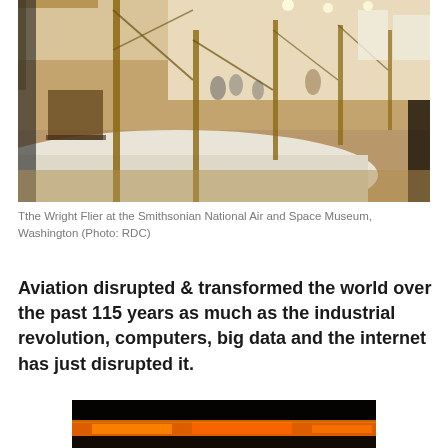[Figure (photo): Interior museum exhibit showing the Wright Flier aircraft on display at the Smithsonian National Air and Space Museum, with wooden frame structure visible, visitors in background, warm indoor lighting.]
Tthe Wright Flier at the Smithsonian National Air and Space Museum, Washington (Photo: RDC)
Aviation disrupted & transformed the world over the past 115 years as much as the industrial revolution, computers, big data and the internet has just disrupted it.
[Figure (photo): Night aerial or landscape photograph showing glowing orange light against a dark background, resembling city lights or fire seen from above.]